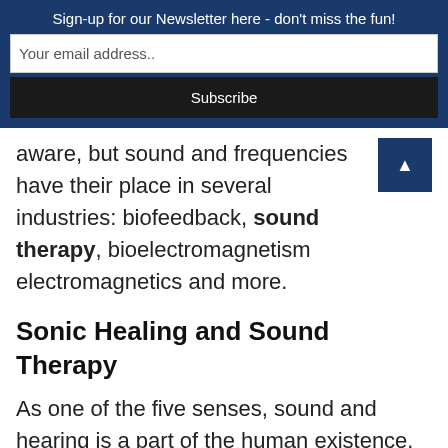Sign-up for our Newsletter here - don't miss the fun!
Your email address..
Subscribe
aware, but sound and frequencies have their place in several industries: biofeedback, sound therapy, bioelectromagnetism electromagnetics and more.
Sonic Healing and Sound Therapy
As one of the five senses, sound and hearing is a part of the human existence. Furthermore, sound carries an internal connection with humans. Healing techniques are not a new concept. They